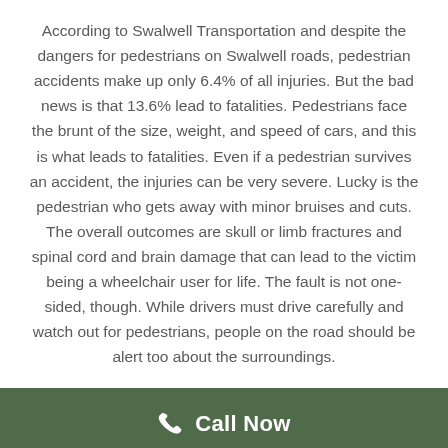According to Swalwell Transportation and despite the dangers for pedestrians on Swalwell roads, pedestrian accidents make up only 6.4% of all injuries. But the bad news is that 13.6% lead to fatalities. Pedestrians face the brunt of the size, weight, and speed of cars, and this is what leads to fatalities. Even if a pedestrian survives an accident, the injuries can be very severe. Lucky is the pedestrian who gets away with minor bruises and cuts. The overall outcomes are skull or limb fractures and spinal cord and brain damage that can lead to the victim being a wheelchair user for life. The fault is not one-sided, though. While drivers must drive carefully and watch out for pedestrians, people on the road should be alert too about the surroundings.
Call Now